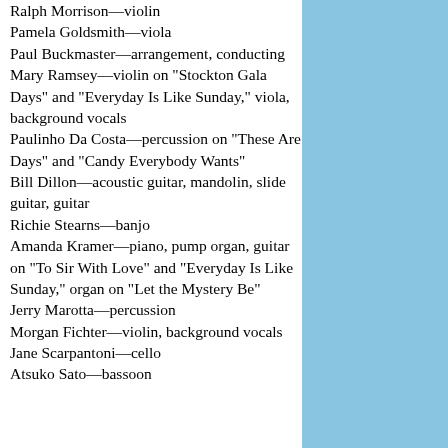Ralph Morrison—violin
Pamela Goldsmith—viola
Paul Buckmaster—arrangement, conducting
Mary Ramsey—violin on "Stockton Gala Days" and "Everyday Is Like Sunday," viola, background vocals
Paulinho Da Costa—percussion on "These Are Days" and "Candy Everybody Wants"
Bill Dillon—acoustic guitar, mandolin, slide guitar, guitar
Richie Stearns—banjo
Amanda Kramer—piano, pump organ, guitar on "To Sir With Love" and "Everyday Is Like Sunday," organ on "Let the Mystery Be"
Jerry Marotta—percussion
Morgan Fichter—violin, background vocals
Jane Scarpantoni—cello
Atsuko Sato—bassoon